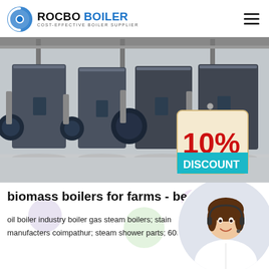[Figure (logo): Rocbo Boiler logo with circular icon and text 'ROCBO BOILER - COST-EFFECTIVE BOILER SUPPLIER']
[Figure (photo): Industrial boiler room with multiple large blue/grey boiler units with attached pumps and piping, and a 10% DISCOUNT badge overlay]
biomass boilers for farms - benga
oil boiler industry boiler gas steam boilers; stain manufacters coimpathur; steam shower parts; 60th fire tube boiler